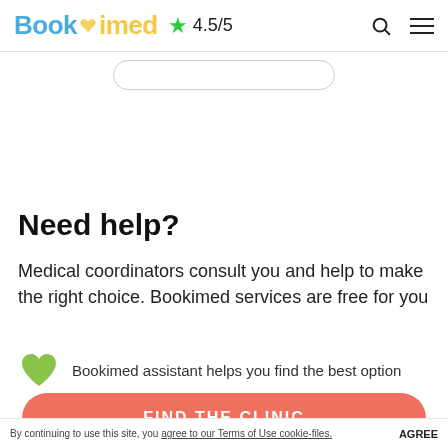Bookimed ★ 4.5/5
[Figure (screenshot): Partial search/pill button area, partially visible]
Need help?
Medical coordinators consult you and help to make the right choice. Bookimed services are free for you
Bookimed assistant helps you find the best option
FIND THE CLINIC
By continuing to use this site, you agree to our Terms of Use cookie-files. AGREE